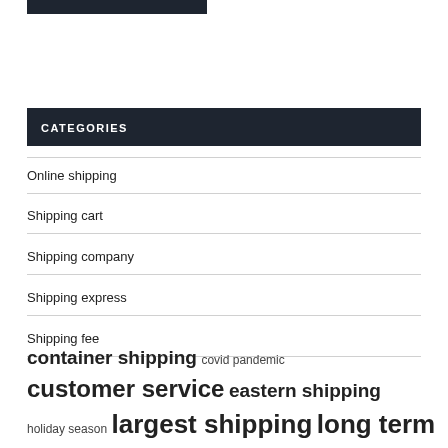[Figure (other): Dark colored image/banner bar at top left]
CATEGORIES
Online shipping
Shipping cart
Shipping company
Shipping express
Shipping fee
container shipping  covid pandemic  customer service  eastern shipping  holiday season  largest shipping  long term